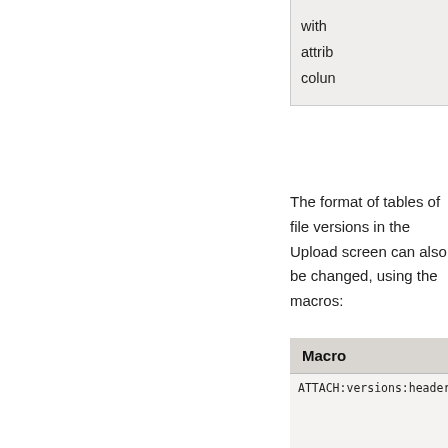| Macro | Des... |
| --- | --- |
| ATTACH:versions:header | Hea... vers... tabl... uplo... scre... |
| ATTACH:versions:row | Row... for v... tabl... uplo... scre... |
The format of tables of file versions in the Upload screen can also be changed, using the macros:
| Macro | Des... |
| --- | --- |
| ATTACH:versions:header | Hea... vers... tabl... uplo... scre... |
| ATTACH:versions:row | Row... for v... tabl... uplo... scre... |